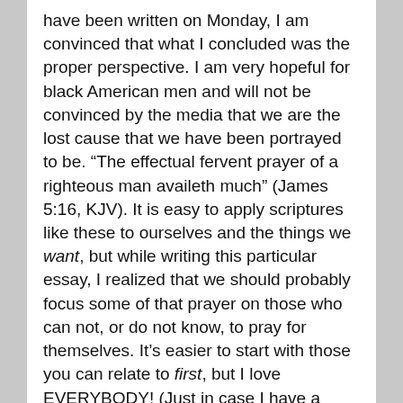have been written on Monday, I am convinced that what I concluded was the proper perspective. I am very hopeful for black American men and will not be convinced by the media that we are the lost cause that we have been portrayed to be. “The effectual fervent prayer of a righteous man availeth much” (James 5:16, KJV). It is easy to apply scriptures like these to ourselves and the things we want, but while writing this particular essay, I realized that we should probably focus some of that prayer on those who can not, or do not know, to pray for themselves. It’s easier to start with those you can relate to first, but I love EVERYBODY! (Just in case I have a brother or sister from another ethnicity read this and feel as though I am negligent of others; I’m not) 🙂
Well, that was all for last week. I’m into week 10 and will probably be working some less stressful